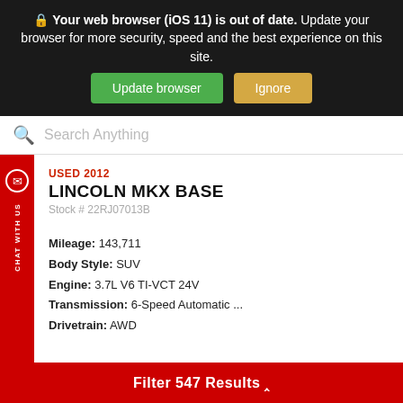Your web browser (iOS 11) is out of date. Update your browser for more security, speed and the best experience on this site.
Update browser | Ignore
Search Anything
USED 2012
LINCOLN MKX BASE
Stock # 22RJ07013B
Mileage: 143,711
Body Style: SUV
Engine: 3.7L V6 TI-VCT 24V
Transmission: 6-Speed Automatic ...
Drivetrain: AWD
[Figure (logo): AutoCheck from Experian logo with blue checkmark]
Original Price   $14,663
Filter 547 Results ^